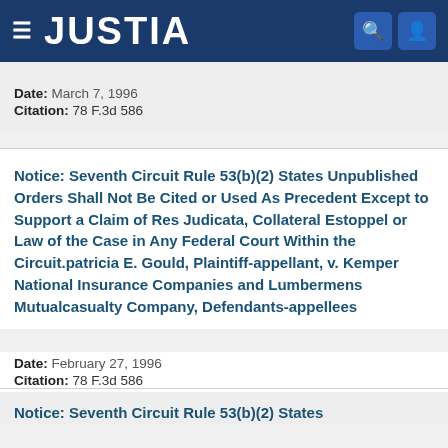JUSTIA
Date: March 7, 1996
Citation: 78 F.3d 586
Notice: Seventh Circuit Rule 53(b)(2) States Unpublished Orders Shall Not Be Cited or Used As Precedent Except to Support a Claim of Res Judicata, Collateral Estoppel or Law of the Case in Any Federal Court Within the Circuit.patricia E. Gould, Plaintiff-appellant, v. Kemper National Insurance Companies and Lumbermens Mutualcasualty Company, Defendants-appellees
Date: February 27, 1996
Citation: 78 F.3d 586
Notice: Seventh Circuit Rule 53(b)(2) States